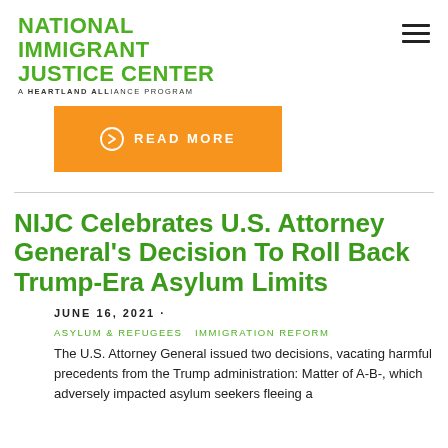NATIONAL IMMIGRANT JUSTICE CENTER A HEARTLAND ALLIANCE PROGRAM
[Figure (other): Orange READ MORE button with arrow-circle icon]
NIJC Celebrates U.S. Attorney General's Decision To Roll Back Trump-Era Asylum Limits
JUNE 16, 2021 ·
ASYLUM & REFUGEES   IMMIGRATION REFORM
The U.S. Attorney General issued two decisions, vacating harmful precedents from the Trump administration: Matter of A-B-, which adversely impacted asylum seekers fleeing a